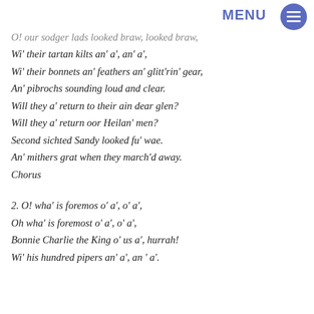MENU
O! our sodger lads looked braw, looked braw,
Wi' their tartan kilts an' a', an' a',
Wi' their bonnets an' feathers an' glitt'rin' gear,
An' pibrochs sounding loud and clear.
Will they a' return to their ain dear glen?
Will they a' return oor Heilan' men?
Second sichted Sandy looked fu' wae.
An' mithers grat when they march'd away.
Chorus
2. O! wha' is foremos o' a', o' a',
Oh wha' is foremost o' a', o' a',
Bonnie Charlie the King o' us a', hurrah!
Wi' his hundred pipers an' a', an ' a'.